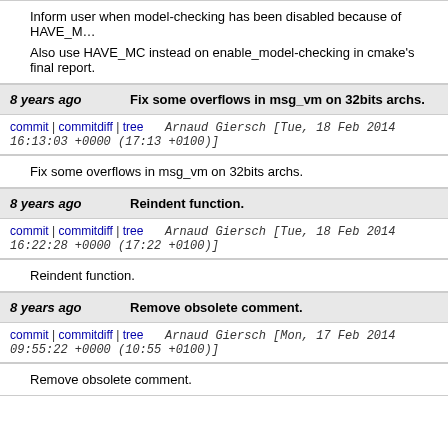Inform user when model-checking has been disabled because of HAVE_MM...

Also use HAVE_MC instead on enable_model-checking in cmake's final report.
8 years ago   Fix some overflows in msg_vm on 32bits archs.
commit | commitdiff | tree   Arnaud Giersch [Tue, 18 Feb 2014 16:13:03 +0000 (17:13 +0100)]
Fix some overflows in msg_vm on 32bits archs.
8 years ago   Reindent function.
commit | commitdiff | tree   Arnaud Giersch [Tue, 18 Feb 2014 16:22:28 +0000 (17:22 +0100)]
Reindent function.
8 years ago   Remove obsolete comment.
commit | commitdiff | tree   Arnaud Giersch [Mon, 17 Feb 2014 09:55:22 +0000 (10:55 +0100)]
Remove obsolete comment.